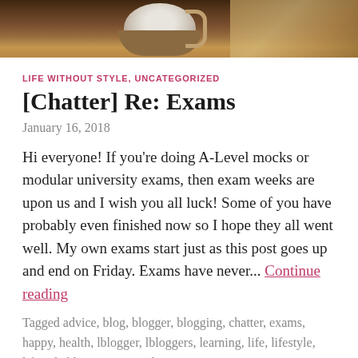[Figure (photo): Top portion of a blog page showing a photo of a coffee cup on a wooden table with a notebook, cropped to show only the top portion.]
LIFE WITHOUT STYLE, UNCATEGORIZED
[Chatter] Re: Exams
January 16, 2018
Hi everyone! If you're doing A-Level mocks or modular university exams, then exam weeks are upon us and I wish you all luck! Some of you have probably even finished now so I hope they all went well. My own exams start just as this post goes up and end on Friday. Exams have never... Continue reading
Tagged advice, blog, blogger, blogging, chatter, exams, happy, health, lblogger, lbloggers, learning, life, lifestyle, lifestyle blogger, personal,